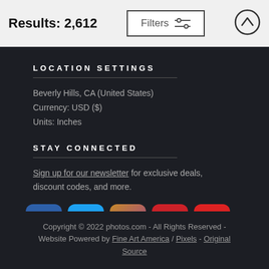Results: 2,612
Filters
LOCATION SETTINGS
Beverly Hills, CA (United States)
Currency: USD ($)
Units: Inches
STAY CONNECTED
Sign up for our newsletter for exclusive deals, discount codes, and more.
[Figure (other): Social media icons: Facebook, Twitter, Instagram, Pinterest, YouTube]
Copyright © 2022 photos.com - All Rights Reserved - Website Powered by Fine Art America / Pixels - Original Source